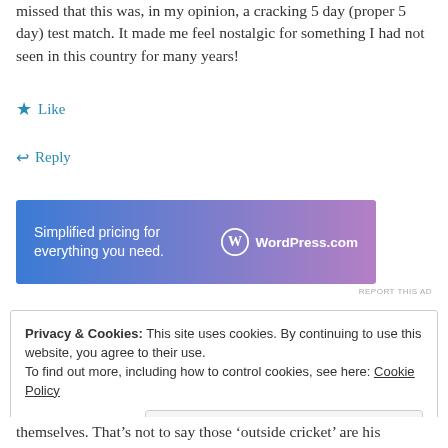missed that this was, in my opinion, a cracking 5 day (proper 5 day) test match. It made me feel nostalgic for something I had not seen in this country for many years!
Like
Reply
[Figure (other): WordPress.com advertisement banner with gradient blue-to-purple background. Text: 'Simplified pricing for everything you need.' with WordPress.com logo on the right.]
REPORT THIS AD
Privacy & Cookies: This site uses cookies. By continuing to use this website, you agree to their use.
To find out more, including how to control cookies, see here: Cookie Policy
Close and accept
themselves. That’s not to say those ‘outside cricket’ are his